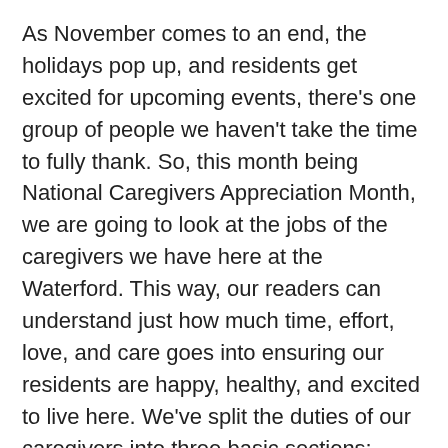As November comes to an end, the holidays pop up, and residents get excited for upcoming events, there's one group of people we haven't take the time to fully thank. So, this month being National Caregivers Appreciation Month, we are going to look at the jobs of the caregivers we have here at the Waterford. This way, our readers can understand just how much time, effort, love, and care goes into ensuring our residents are happy, healthy, and excited to live here. We've split the duties of our caregivers into three basic sections: meals and medication, grooming and restroom use, and transportation and companionship. Our caregivers provide all of these services and more to the residents at the Waterford, so next time you're here visiting a loved one you can understand all the factors which do into their care.